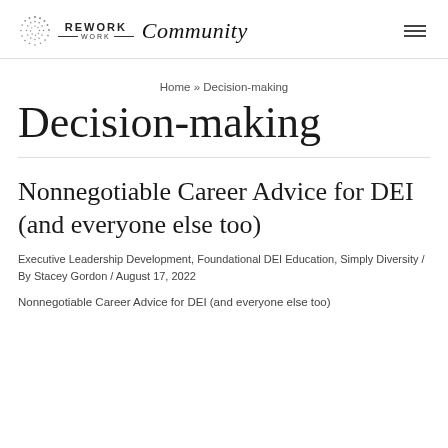REWORK WORK Community
Home » Decision-making
Decision-making
Nonnegotiable Career Advice for DEI (and everyone else too)
Executive Leadership Development, Foundational DEI Education, Simply Diversity / By Stacey Gordon / August 17, 2022
Nonnegotiable Career Advice for DEI (and everyone else too)